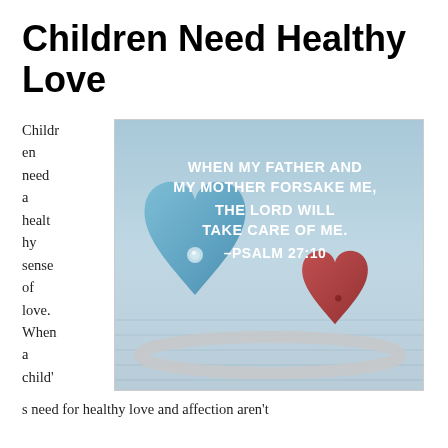Children Need Healthy Love
Children need a healthy sense of love. When a child'
[Figure (photo): Photo of two heart-shaped rings (one blue, one red) with white handwritten-style text overlay reading: WHEN MY FATHER AND MY MOTHER FORSAKE ME, THE LORD WILL TAKE CARE OF ME. –PSALM 27:10]
s need for healthy love and affection aren't